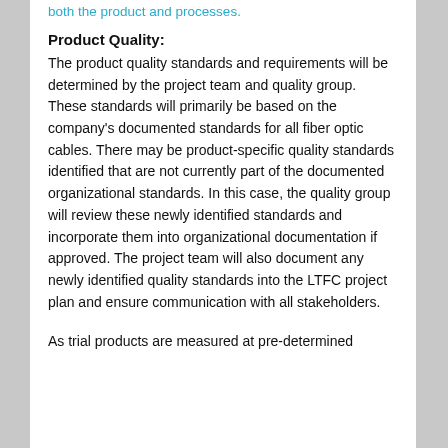both the product and processes.
Product Quality:
The product quality standards and requirements will be determined by the project team and quality group. These standards will primarily be based on the company's documented standards for all fiber optic cables. There may be product-specific quality standards identified that are not currently part of the documented organizational standards. In this case, the quality group will review these newly identified standards and incorporate them into organizational documentation if approved. The project team will also document any newly identified quality standards into the LTFC project plan and ensure communication with all stakeholders.
As trial products are measured at pre-determined